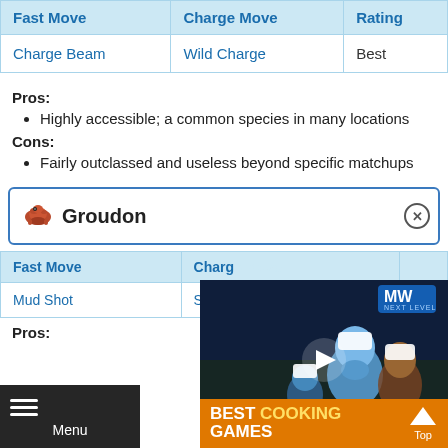| Fast Move | Charge Move | Rating |
| --- | --- | --- |
| Charge Beam | Wild Charge | Best |
Pros:
Highly accessible; a common species in many locations
Cons:
Fairly outclassed and useless beyond specific matchups
Groudon
| Fast Move | Charge Move | Rating |
| --- | --- | --- |
| Mud Shot | Solar B… |  |
Pros:
[Figure (screenshot): Video advertisement overlay showing 'Best Cooking Games' with animated characters in chef hats, MW Next Level logo, play button, and Top arrow button]